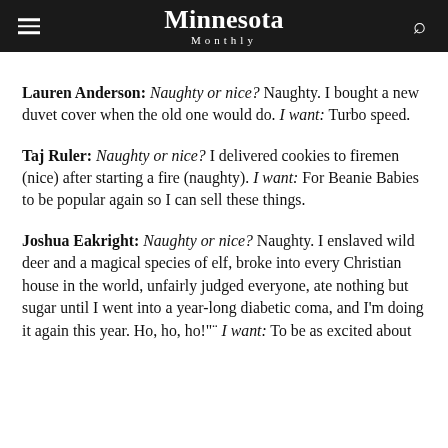Minnesota Monthly
Lauren Anderson: Naughty or nice? Naughty. I bought a new duvet cover when the old one would do. I want: Turbo speed.
Taj Ruler: Naughty or nice? I delivered cookies to firemen (nice) after starting a fire (naughty). I want: For Beanie Babies to be popular again so I can sell these things.
Joshua Eakright: Naughty or nice? Naughty. I enslaved wild deer and a magical species of elf, broke into every Christian house in the world, unfairly judged everyone, ate nothing but sugar until I went into a year-long diabetic coma, and I'm doing it again this year. Ho, ho, ho!" I want: To be as excited about